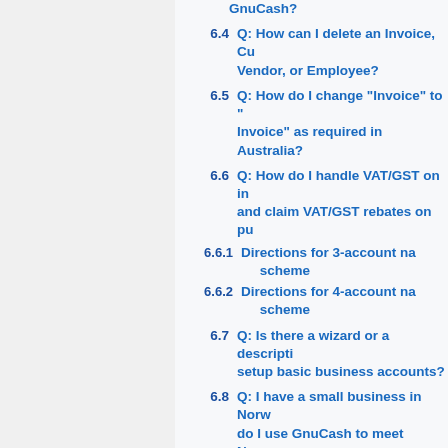GnuCash?
6.4 Q: How can I delete an Invoice, Customer, Vendor, or Employee?
6.5 Q: How do I change "Invoice" to "Tax Invoice" as required in Australia?
6.6 Q: How do I handle VAT/GST on invoices and claim VAT/GST rebates on purchases?
6.6.1 Directions for 3-account name scheme
6.6.2 Directions for 4-account name scheme
6.7 Q: Is there a wizard or a description to setup basic business accounts?
6.8 Q: I have a small business in Norway, how do I use GnuCash to meet Norwegian standards?
6.9 Q: Can I pay multiple bills/invoices/vouchers with a single payment?
6.10 Q: How do I customise the default report options so my printable invoices